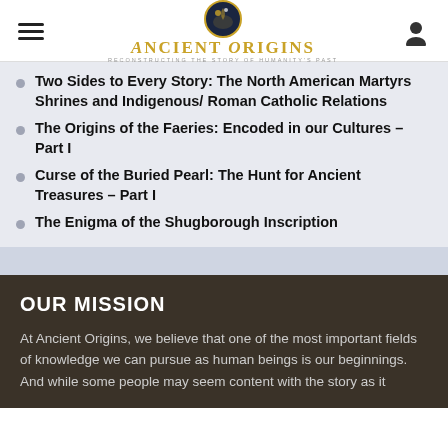Ancient Origins — Reconstructing the story of humanity's past
Two Sides to Every Story: The North American Martyrs Shrines and Indigenous/ Roman Catholic Relations
The Origins of the Faeries: Encoded in our Cultures – Part I
Curse of the Buried Pearl: The Hunt for Ancient Treasures – Part I
The Enigma of the Shugborough Inscription
OUR MISSION
At Ancient Origins, we believe that one of the most important fields of knowledge we can pursue as human beings is our beginnings. And while some people may seem content with the story as it